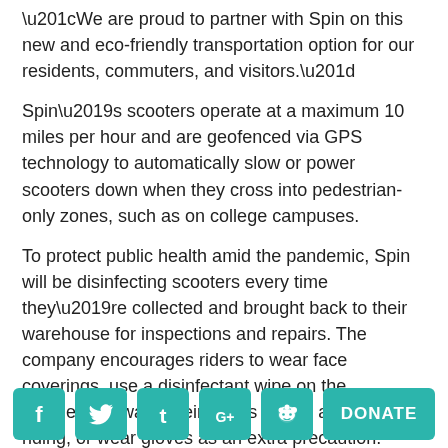“We are proud to partner with Spin on this new and eco-friendly transportation option for our residents, commuters, and visitors.”
Spin’s scooters operate at a maximum 10 miles per hour and are geofenced via GPS technology to automatically slow or power scooters down when they cross into pedestrian-only zones, such as on college campuses.
To protect public health amid the pandemic, Spin will be disinfecting scooters every time they’re collected and brought back to their warehouse for inspections and repairs. The company encourages riders to wear face coverings, use a disinfectant wipe on the handlebars, wash their hands before and after riding, or wear gloves as an extra precaution.
Basic safety guidelines for riding the scooters are
[Figure (infographic): Social media icon buttons for Facebook, Twitter, Tumblr, Google+, Reddit (all teal/green squares with white icons), and a teal DONATE button, arranged in a horizontal row at the bottom of the page.]